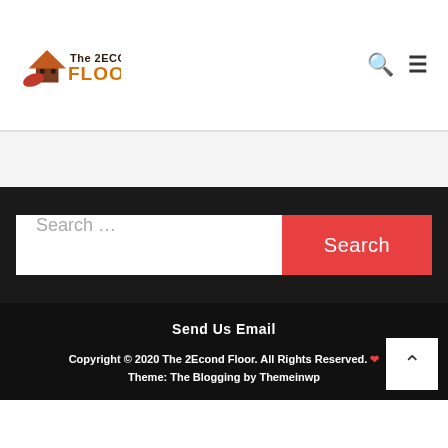[Figure (logo): The 2Econd Floor website logo with house icon and leaf, orange FLOOR text]
Search icon and hamburger menu icon
Search ...
Search
Send Us Email
Copyright © 2020 The 2Econd Floor. All Rights Reserved. ❤ Theme: The Blogging by Themeinwp